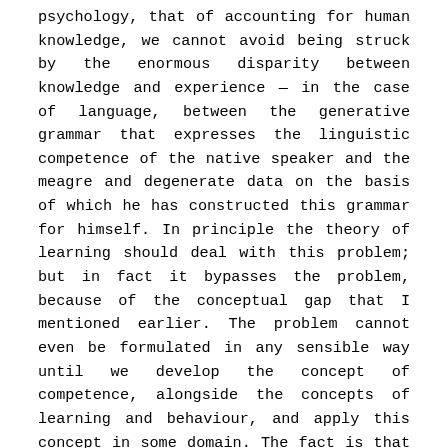psychology, that of accounting for human knowledge, we cannot avoid being struck by the enormous disparity between knowledge and experience — in the case of language, between the generative grammar that expresses the linguistic competence of the native speaker and the meagre and degenerate data on the basis of which he has constructed this grammar for himself. In principle the theory of learning should deal with this problem; but in fact it bypasses the problem, because of the conceptual gap that I mentioned earlier. The problem cannot even be formulated in any sensible way until we develop the concept of competence, alongside the concepts of learning and behaviour, and apply this concept in some domain. The fact is that this concept has so far been extensively developed and applied only in the study of human language. It is only in this domain that we have at least the first steps toward an account of competence, namely the fragmentary generative grammars that have been constructed for particular languages. As the